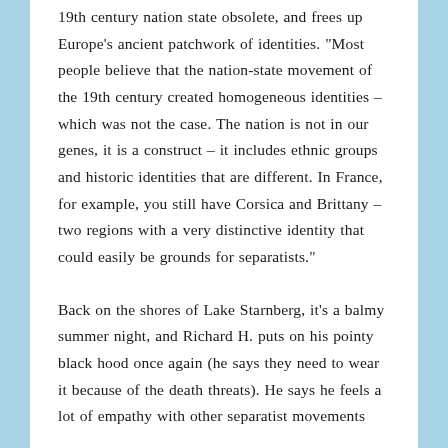19th century nation state obsolete, and frees up Europe's ancient patchwork of identities. "Most people believe that the nation-state movement of the 19th century created homogeneous identities – which was not the case. The nation is not in our genes, it is a construct – it includes ethnic groups and historic identities that are different. In France, for example, you still have Corsica and Brittany – two regions with a very distinctive identity that could easily be grounds for separatists."
Back on the shores of Lake Starnberg, it's a balmy summer night, and Richard H. puts on his pointy black hood once again (he says they need to wear it because of the death threats). He says he feels a lot of empathy with other separatist movements